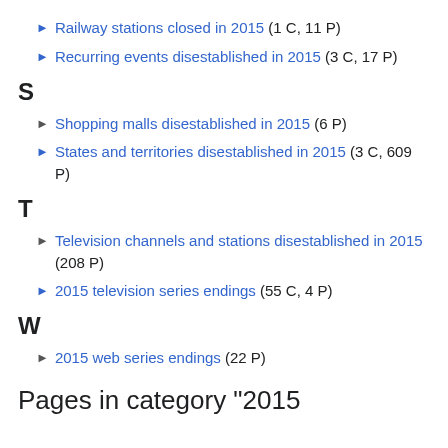Railway stations closed in 2015 (1 C, 11 P)
Recurring events disestablished in 2015 (3 C, 17 P)
S
Shopping malls disestablished in 2015 (6 P)
States and territories disestablished in 2015 (3 C, 609 P)
T
Television channels and stations disestablished in 2015 (208 P)
2015 television series endings (55 C, 4 P)
W
2015 web series endings (22 P)
Pages in category "2015